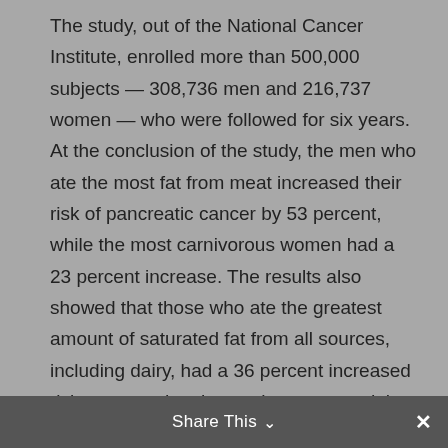The study, out of the National Cancer Institute, enrolled more than 500,000 subjects — 308,736 men and 216,737 women — who were followed for six years. At the conclusion of the study, the men who ate the most fat from meat increased their risk of pancreatic cancer by 53 percent, while the most carnivorous women had a 23 percent increase. The results also showed that those who ate the greatest amount of saturated fat from all sources, including dairy, had a 36 percent increased risk compared to those who consumed the least amount.

According to study author Rachael Z. Stolzenberg-Solomon, "We observed positive
Share This ∨  ✕